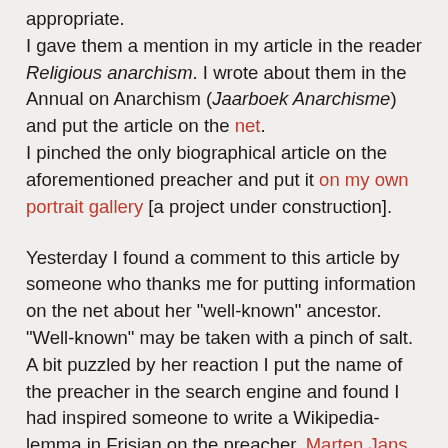appropriate. I gave them a mention in my article in the reader Religious anarchism. I wrote about them in the Annual on Anarchism (Jaarboek Anarchisme) and put the article on the net. I pinched the only biographical article on the aforementioned preacher and put it on my own portrait gallery [a project under construction].
Yesterday I found a comment to this article by someone who thanks me for putting information on the net about her "well-known" ancestor. "Well-known" may be taken with a pinch of salt. A bit puzzled by her reaction I put the name of the preacher in the search engine and found I had inspired someone to write a Wikipedia-lemma in Frisian on the preacher, Marten Jans van Houten, which specifically quotes my article on the scarcity of sources.
Sources may be scarce, but stories may be told and live on, and whatever sources there are should be brought to the light and to life to remind the downtrodden and seemingly voiceless that they have had a voice all along. Knowing to be part of this effort is my joy and my payment (I